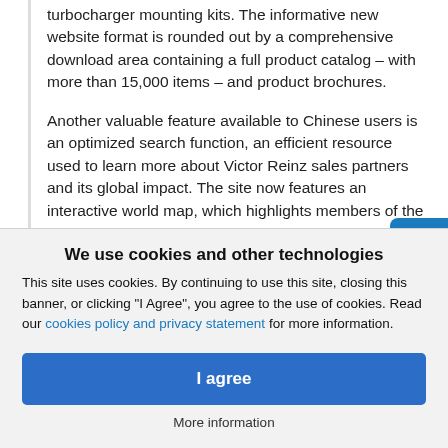turbocharger mounting kits. The informative new website format is rounded out by a comprehensive download area containing a full product catalog – with more than 15,000 items – and product brochures.
Another valuable feature available to Chinese users is an optimized search function, an efficient resource used to learn more about Victor Reinz sales partners and its global impact. The site now features an interactive world map, which highlights members of the...
We use cookies and other technologies
This site uses cookies. By continuing to use this site, closing this banner, or clicking "I Agree", you agree to the use of cookies. Read our cookies policy and privacy statement for more information.
I agree
More information